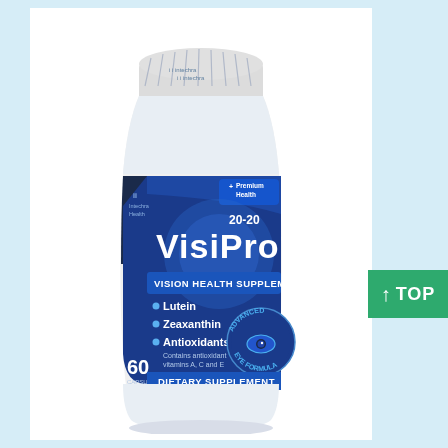[Figure (photo): VisiPro 20-20 Vision Health Supplement bottle by Intechra Health. White plastic bottle with blue label. Label reads: Premium Health, 20-20, VisiPro, Vision Health Supplement. Bullet points: Lutein, Zeaxanthin, Antioxidants (Contains antioxidant vitamins A, C and E). 60 Capsules. Dietary Supplement. Advanced Eye Formula seal with eye graphic.]
[Figure (other): Green TOP navigation button with upward arrow]